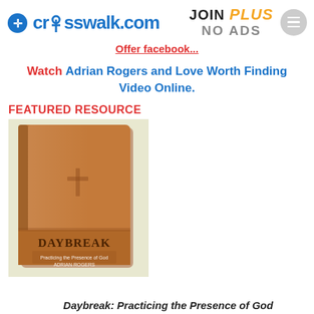crosswalk.com | JOIN PLUS NO ADS
Offer facebook...
Watch Adrian Rogers and Love Worth Finding Video Online.
FEATURED RESOURCE
[Figure (photo): Brown leather-bound book titled DAYBREAK: Practicing the Presence of God by Adrian Rogers]
Daybreak: Practicing the Presence of God